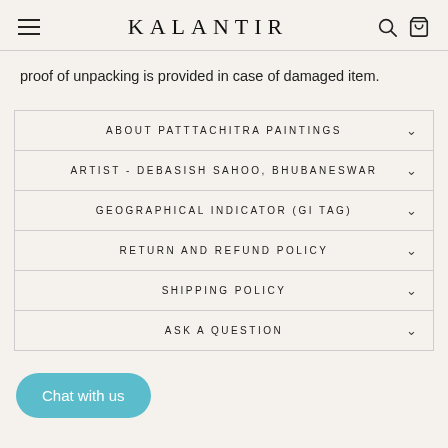KALANTIR
proof of unpacking is provided in case of damaged item.
ABOUT PATTTACHITRA PAINTINGS
ARTIST - DEBASISH SAHOO, BHUBANESWAR
GEOGRAPHICAL INDICATOR (GI TAG)
RETURN AND REFUND POLICY
SHIPPING POLICY
ASK A QUESTION
Chat with us